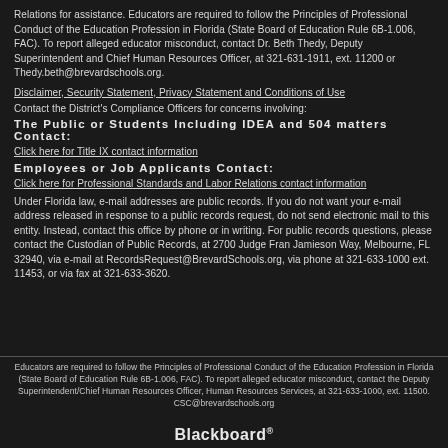Relations for assistance. Educators are required to follow the Principles of Professional Conduct of the Education Profession in Florida (State Board of Education Rule 6B-1.006, FAC). To report alleged educator misconduct, contact Dr. Beth Thedy, Deputy Superintendent and Chief Human Resources Officer, at 321-631-1911, ext. 11200 or Thedy.beth@brevardschools.org.
Disclaimer, Security Statement, Privacy Statement and Conditions of Use
Contact the District's Compliance Officers for concerns involving:
The Public or Students Including IDEA and 504 matters Contact:
Click here for Title IX contact information
Employees or Job Applicants Contact:
Click here for Professional Standards and Labor Relations contact information
Under Florida law, e-mail addresses are public records. If you do not want your e-mail address released in response to a public records request, do not send electronic mail to this entity. Instead, contact this office by phone or in writing. For public records questions, please contact the Custodian of Public Records, at 2700 Judge Fran Jamieson Way, Melbourne, FL 32940, via e-mail at RecordsRequest@BrevardSchools.org, via phone at 321-633-1000 ext. 11453, or via fax at 321-633-3620.
Educators are required to follow the Principles of Professional Conduct of the Education Profession in Florida (State Board of Education Rule 6B-1.006, FAC). To report alleged educator misconduct, contact the Deputy Superintendent/Chief Human Resources Officer, Human Resources Services, at 321-633-1000, ext. 11500. CSC@brevardschools.org
Blackboard